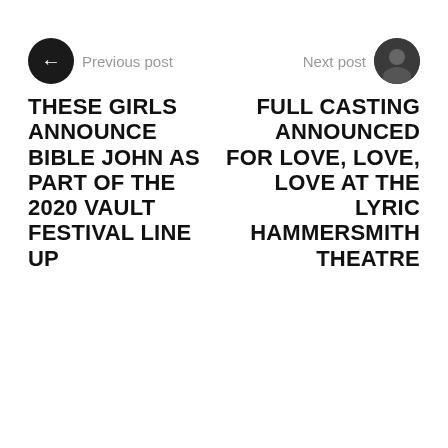Previous post
THESE GIRLS ANNOUNCE BIBLE JOHN AS PART OF THE 2020 VAULT FESTIVAL LINE UP
Next post
FULL CASTING ANNOUNCED FOR LOVE, LOVE, LOVE AT THE LYRIC HAMMERSMITH THEATRE